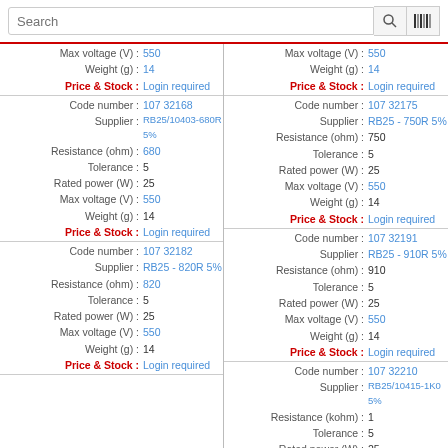| Field | Value (left) | Field | Value (right) |
| --- | --- | --- | --- |
| Max voltage (V) : | 550 | Max voltage (V) : | 550 |
| Weight (g) : | 14 | Weight (g) : | 14 |
| Price & Stock : | Login required | Price & Stock : | Login required |
| Code number : | 107 32168 | Code number : | 107 32175 |
| Supplier : | RB25/10403-680R 5% | Supplier : | RB25 - 750R 5% |
| Resistance (ohm) : | 680 | Resistance (ohm) : | 750 |
| Tolerance : | 5 | Tolerance : | 5 |
| Rated power (W) : | 25 | Rated power (W) : | 25 |
| Max voltage (V) : | 550 | Max voltage (V) : | 550 |
| Weight (g) : | 14 | Weight (g) : | 14 |
| Price & Stock : | Login required | Price & Stock : | Login required |
| Code number : | 107 32182 | Code number : | 107 32191 |
| Supplier : | RB25 - 820R 5% | Supplier : | RB25 - 910R 5% |
| Resistance (ohm) : | 820 | Resistance (ohm) : | 910 |
| Tolerance : | 5 | Tolerance : | 5 |
| Rated power (W) : | 25 | Rated power (W) : | 25 |
| Max voltage (V) : | 550 | Max voltage (V) : | 550 |
| Weight (g) : | 14 | Weight (g) : | 14 |
| Price & Stock : | Login required | Price & Stock : | Login required |
|  |  | Code number : | 107 32210 |
|  |  | Supplier : | RB25/10415-1K0 5% |
|  |  | Resistance (kohm) : | 1 |
|  |  | Tolerance : | 5 |
|  |  | Rated power (W) : | 25 |
|  |  | Max voltage (V) : | 550 |
|  |  | Weight (g) : | 14 |
|  |  | Price & Stock : | Login required |
| Code number : | 107 32211 | Code number : | 107 32212 |
| Supplier : | RB25 - 1K1 5% | Supplier : | RB25/10418-1K2 5% |
| Resistance (kohm) : | 1.1 | Resistance (kohm) : | 1.2 |
| Tolerance : | 5 | Tolerance : | 5 |